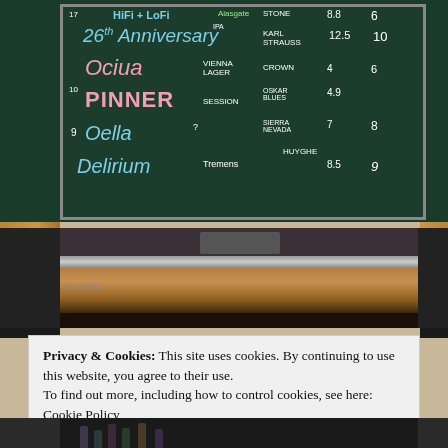[Figure (photo): Chalkboard menu at a bar showing beer selections including HiFi + LoFi, 26th Anniversary, Ociua Vienna Lager, Pinner Session, Delirium Tremens, with prices including Stone 8.8, Karl Strauss 12.5, Crown 4, Oskar Blues 4.9, Sierra Nevada 7, Huyghe 8.5]
[Figure (photo): Bar counter interior photo showing dark metal beer taps and stainless steel bar equipment]
Privacy & Cookies: This site uses cookies. By continuing to use this website, you agree to their use.
To find out more, including how to control cookies, see here:
Cookie Policy
[Figure (photo): Bottom portion of bar interior showing bottles on shelves]